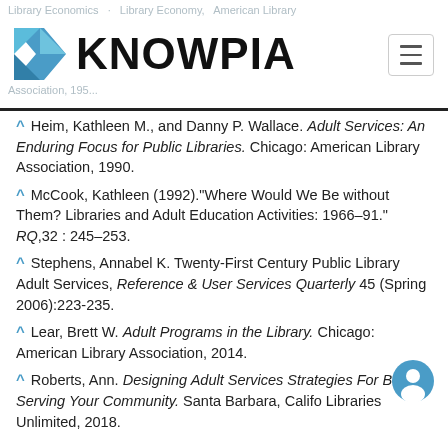KNOWPIA
^ Heim, Kathleen M., and Danny P. Wallace. Adult Services: An Enduring Focus for Public Libraries. Chicago: American Library Association, 1990.
^ McCook, Kathleen (1992)."Where Would We Be without Them? Libraries and Adult Education Activities: 1966–91." RQ,32 : 245–253.
^ Stephens, Annabel K. Twenty-First Century Public Library Adult Services, Reference & User Services Quarterly 45 (Spring 2006):223-235.
^ Lear, Brett W. Adult Programs in the Library. Chicago: American Library Association, 2014.
^ Roberts, Ann. Designing Adult Services Strategies For Better Serving Your Community. Santa Barbara, Califo Libraries Unlimited, 2018.